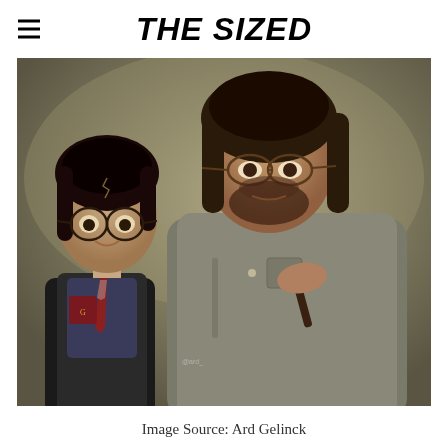THE SIZED
[Figure (photo): Composite photo showing a young Harry Potter character (child with round glasses, Hogwarts school uniform with tie and Gryffindor crest) on the left, alongside an adult man with long dark hair, round glasses, and a beard wearing a grey shirt and holding a wand, on the right. Muted olive/tan background.]
Image Source: Ard Gelinck